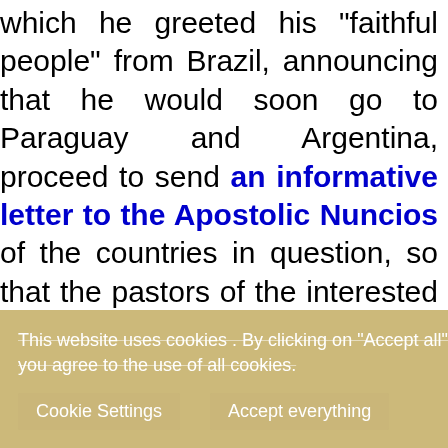which he greeted his "faithful people" from Brazil, announcing that he would soon go to Paraguay and Argentina, proceed to send an informative letter to the Apostolic Nuncios of the countries in question, so that the pastors of the interested dioceses are informed and can warn their priests, preventing Minutella from sneaking into Marian shrines and religious institutions, to record videos and be able to launch challenges invaded by hate that manufactures hate and incites hate.
This website uses cookies . By clicking on "Accept all" you agree to the use of all cookies.
Cookie Settings   Accept everything